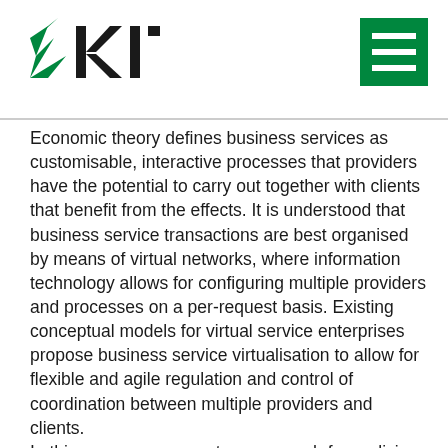KIT logo and navigation menu
Economic theory defines business services as customisable, interactive processes that providers have the potential to carry out together with clients that benefit from the effects. It is understood that business service transactions are best organised by means of virtual networks, where information technology allows for configuring multiple providers and processes on a per-request basis. Existing conceptual models for virtual service enterprises propose business service virtualisation to allow for flexible and agile regulation and control of coordination between multiple providers and clients. In this paper, we present an approach for realising business service virtualisation based on software service technology. In particular, we propose a service-oriented software architecture for representing virtual business service processes as e-services. E-service models specify flexible business service interactions between multiple providers and clients of virtual service enterprises and allow for regulation and enforcement of their coordination. We demonstrate the utilisation of our e-service SOA in the context of an e-science scenario, where we show how to design e-service models for the use case of virtual